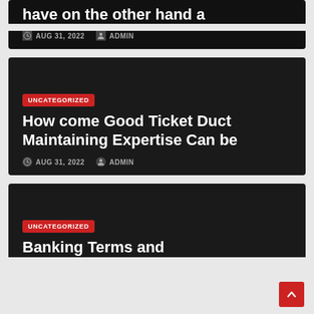have on the other hand a
AUG 31, 2022   ADMIN
UNCATEGORIZED
How come Good Ticket Duct Maintaining Expertise Can be
AUG 31, 2022   ADMIN
UNCATEGORIZED
Banking Terms and